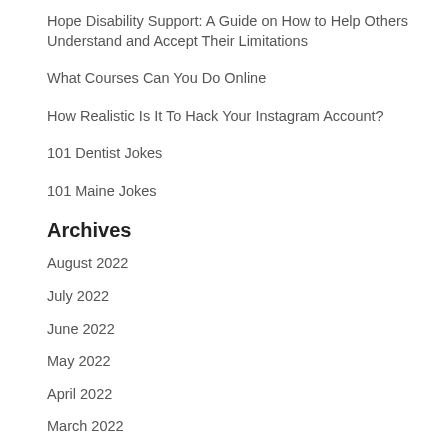Hope Disability Support: A Guide on How to Help Others Understand and Accept Their Limitations
What Courses Can You Do Online
How Realistic Is It To Hack Your Instagram Account?
101 Dentist Jokes
101 Maine Jokes
Archives
August 2022
July 2022
June 2022
May 2022
April 2022
March 2022
February 2022